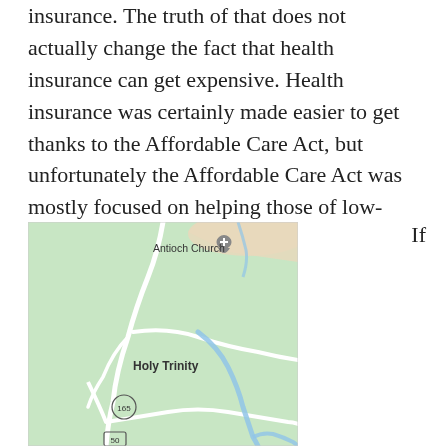insurance. The truth of that does not actually change the fact that health insurance can get expensive. Health insurance was certainly made easier to get thanks to the Affordable Care Act, but unfortunately the Affordable Care Act was mostly focused on helping those of low-income get health insurance.
[Figure (map): Google Maps screenshot showing Holy Trinity area with Antioch Church marker, road 165, road 50, rivers/waterways, and green terrain.]
If